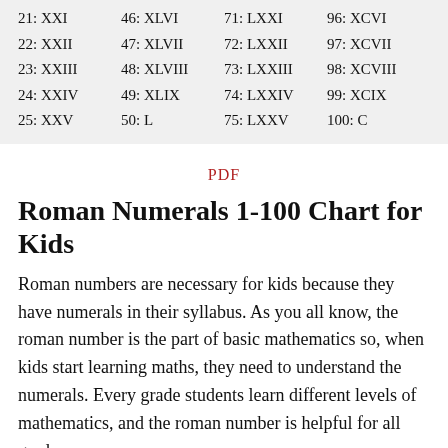| 21: XXI | 46: XLVI | 71: LXXI | 96: XCVI |
| 22: XXII | 47: XLVII | 72: LXXII | 97: XCVII |
| 23: XXIII | 48: XLVIII | 73: LXXIII | 98: XCVIII |
| 24: XXIV | 49: XLIX | 74: LXXIV | 99: XCIX |
| 25: XXV | 50: L | 75: LXXV | 100: C |
PDF
Roman Numerals 1-100 Chart for Kids
Roman numbers are necessary for kids because they have numerals in their syllabus. As you all know, the roman number is the part of basic mathematics so, when kids start learning maths, they need to understand the numerals. Every grade students learn different levels of mathematics, and the roman number is helpful for all grade